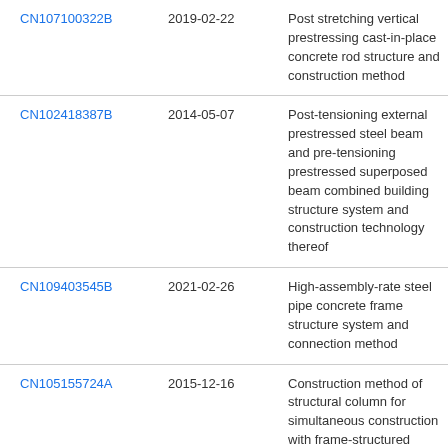| CN107100322B | 2019-02-22 | Post stretching vertical prestressing cast-in-place concrete rod structure and construction method |
| CN102418387B | 2014-05-07 | Post-tensioning external prestressed steel beam and pre-tensioning prestressed superposed beam combined building structure system and construction technology thereof |
| CN109403545B | 2021-02-26 | High-assembly-rate steel pipe concrete frame structure system and connection method |
| CN105155724A | 2015-12-16 | Construction method of structural column for simultaneous construction with frame-structured filled wall |
| CN204940652U | 2016-01-06 | Large-span prestressed site prefabrication arch bar |